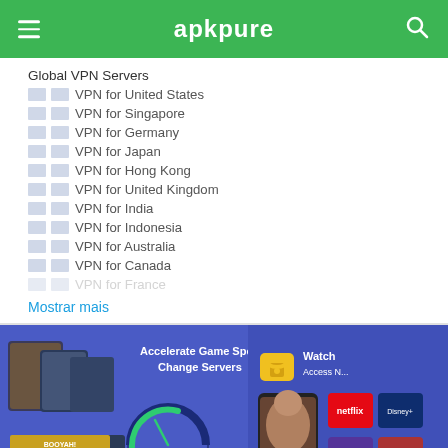apkpure
Global VPN Servers
🇺🇸VPN for United States
🇸🇬VPN for Singapore
🇩🇪VPN for Germany
🇯🇵VPN for Japan
🇭🇰VPN for Hong Kong
🇬🇧VPN for United Kingdom
🇮🇳VPN for India
🇮🇩VPN for Indonesia
🇦🇺VPN for Australia
🇨🇦VPN for Canada
🇫🇷VPN for France
Mostrar mais
[Figure (screenshot): Banner showing Accelerate Game Speed Change Servers with game images and speedometer graphic]
[Figure (screenshot): Banner showing Watch Access N... with lock icon, Netflix/Disney+ and woman portrait images]